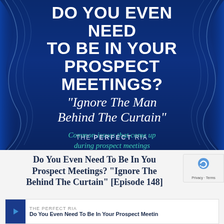[Figure (illustration): Dark blue curtain background with theatrical stage curtains on left and right sides]
DO YOU EVEN NEED TO BE IN YOUR PROSPECT MEETINGS? "Ignore The Man Behind The Curtain"
Common issues that come up during prospect meetings
THE PERFECT RIA
Do You Even Need To Be In Your Prospect Meetings? "Ignore The Man Behind The Curtain" [Episode 148]
THE PERFECT RIA
Do You Even Need To Be In Your Prospect Meetin